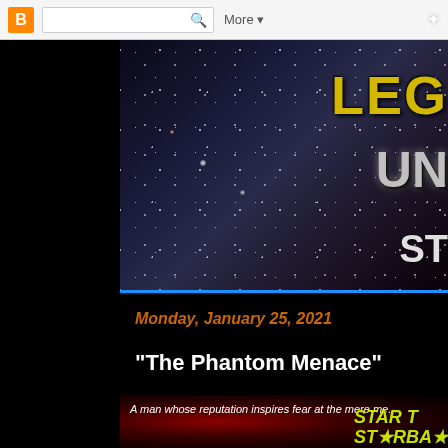B [Blogger navbar] | [search box] Q | More ▾ | ✦
[Figure (screenshot): Blog header banner showing a starfield/nebula background with partial text reading 'LEG...' in gold and 'UN...' in silver and 'ST...' below — appears to be 'Legends Unbound: Star Trek' blog header, partially cropped on right side]
Monday, January 25, 2021
"The Phantom Menace"
[Figure (screenshot): Bottom portion of blog post image on dark red/maroon background with text 'A man whose reputation inspires fear at the mere me...' and partial Star Trek Starbase logo in yellow-green at bottom right]